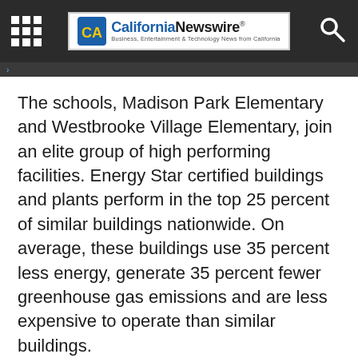California Newswire - Business, Entertainment & Technology News from California
The schools, Madison Park Elementary and Westbrooke Village Elementary, join an elite group of high performing facilities. Energy Star certified buildings and plants perform in the top 25 percent of similar buildings nationwide. On average, these buildings use 35 percent less energy, generate 35 percent fewer greenhouse gas emissions and are less expensive to operate than similar buildings.